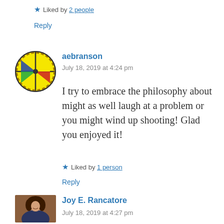★ Liked by 2 people
Reply
[Figure (illustration): Yellow circular Celtic-style avatar icon with colored quadrants (blue, green, red, yellow) and knotwork patterns]
aebranson
July 18, 2019 at 4:24 pm
I try to embrace the philosophy about might as well laugh at a problem or you might wind up shooting! Glad you enjoyed it!
★ Liked by 1 person
Reply
[Figure (photo): Profile photo of Joy E. Rancatore, a woman with dark hair smiling]
Joy E. Rancatore
July 18, 2019 at 4:27 pm